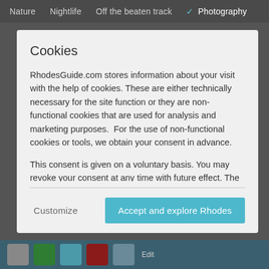Nature   Nightlife   Off the beaten track   ✓ Photography
Cookies
RhodesGuide.com stores information about your visit with the help of cookies. These are either technically necessary for the site function or they are non-functional cookies that are used for analysis and marketing purposes.  For the use of non-functional cookies or tools, we obtain your consent in advance.
This consent is given on a voluntary basis. You may revoke your consent at any time with future effect. The revocation of your consent does not affect the lawfulness of the processing carried out up to that point.  By clicking "Agree", you accept the use of non-functional cookies.  It is also possible to reject the use of cookies or to make detailed settings.
Customize   Accept and explore Rhodes